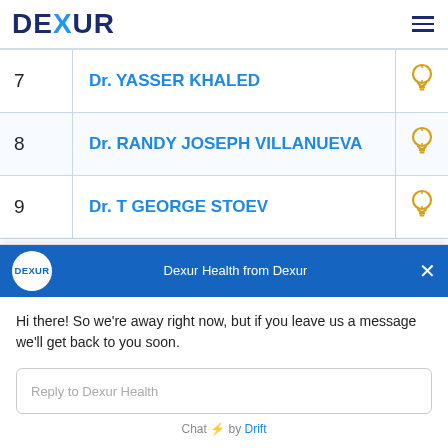DEXUR
| # | Name | Icon |
| --- | --- | --- |
| 7 | Dr. YASSER KHALED |  |
| 8 | Dr. RANDY JOSEPH VILLANUEVA |  |
| 9 | Dr. T GEORGE STOEV |  |
This website uses cookies to ensure you get the best experience on our website. By using
Dexur Health from Dexur
Hi there! So we're away right now, but if you leave us a message we'll get back to you soon.
Reply to Dexur Health
Chat ⚡ by Drift